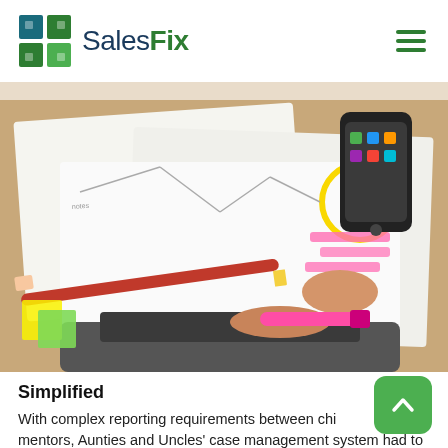SalesFix
[Figure (photo): Overhead photo of a desk workspace showing papers with sketches/notes, a hand holding a pink highlighter marker, a smartphone, a red pencil, and a yellow sticky note with circle drawing. A wooden desk surface and monitor base are visible.]
Simplified
With complex reporting requirements between chi[ldren a]nd mentors, Aunties and Uncles' case management system had to be accessible on the cloud, easy to use for all